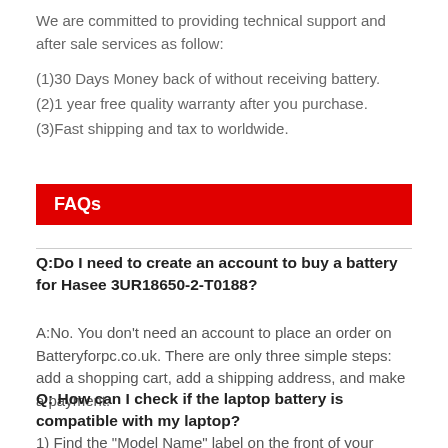We are committed to providing technical support and after sale services as follow:
(1)30 Days Money back of without receiving battery.
(2)1 year free quality warranty after you purchase.
(3)Fast shipping and tax to worldwide.
FAQs
Q:Do I need to create an account to buy a battery for Hasee 3UR18650-2-T0188?
A:No. You don't need an account to place an order on Batteryforpc.co.uk. There are only three simple steps: add a shopping cart, add a shipping address, and make a payment.
Q: How can I check if the laptop battery is compatible with my laptop?
1) Find the "Model Name" label on the front of your laptop under the keyboard (some are on the back) or the "Battery Model" label